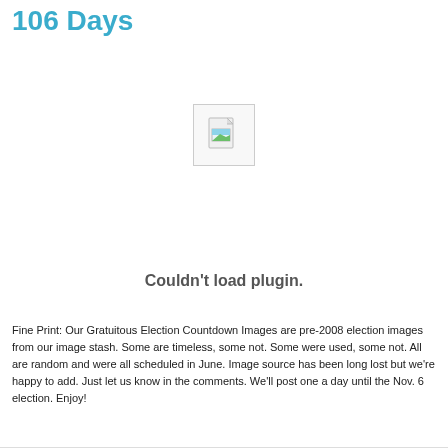106 Days
[Figure (other): Broken image/plugin placeholder icon — a small document icon with a landscape image thumbnail, inside a light gray bordered box. Below it reads 'Couldn't load plugin.']
Fine Print: Our Gratuitous Election Countdown Images are pre-2008 election images from our image stash. Some are timeless, some not. Some were used, some not. All are random and were all scheduled in June. Image source has been long lost but we're happy to add. Just let us know in the comments. We'll post one a day until the Nov. 6 election. Enjoy!